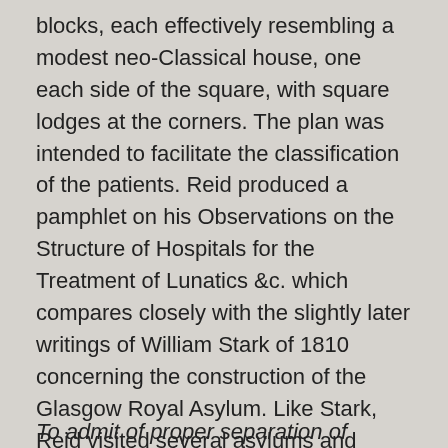blocks, each effectively resembling a modest neo-Classical house, one each side of the square, with square lodges at the corners. The plan was intended to facilitate the classification of the patients. Reid produced a pamphlet on his Observations on the Structure of Hospitals for the Treatment of Lunatics &c. which compares closely with the slightly later writings of William Stark of 1810 concerning the construction of the Glasgow Royal Asylum. Like Stark, Reid visited several asylums and hospitals for lunatics in different parts of England. Classification was the key to the plan:
To admit of proper separation of patients into